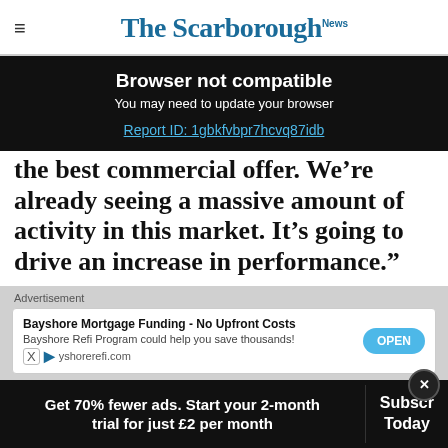The Scarborough News
Browser not compatible
You may need to update your browser
Report ID: 1gbkfvbpr7hcvq87idb
the best commercial offer. We’re already seeing a massive amount of activity in this market. It’s going to drive an increase in performance.”
Advertisement
Bayshore Mortgage Funding - No Upfront Costs
Bayshore Refi Program could help you save thousands!
yshorerefi.com
Get 70% fewer ads. Start your 2-month trial for just £2 per month
Subscribe Today